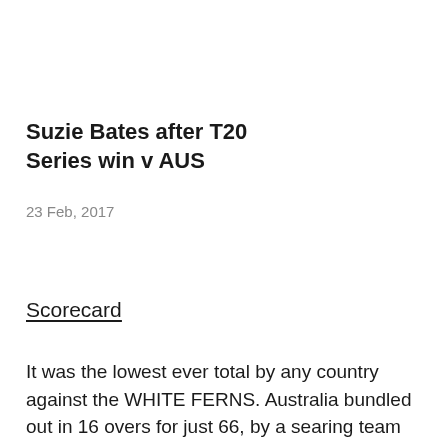Suzie Bates after T20 Series win v AUS
23 Feb, 2017
Scorecard
It was the lowest ever total by any country against the WHITE FERNS. Australia bundled out in 16 overs for just 66, by a searing team attack defending a lowish total at a splendid ground. New Zealand's maiden Twenty20 International appearance at Adelaide Oval would go down in history in more ways than